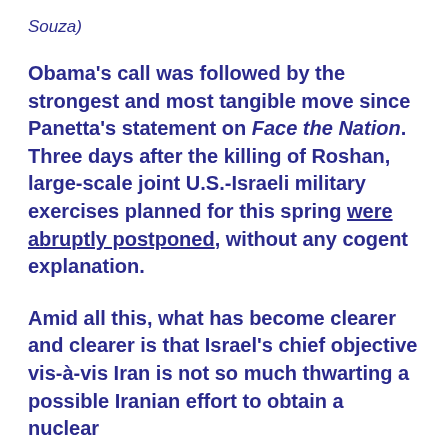Souza)
Obama's call was followed by the strongest and most tangible move since Panetta's statement on Face the Nation. Three days after the killing of Roshan, large-scale joint U.S.-Israeli military exercises planned for this spring were abruptly postponed, without any cogent explanation.
Amid all this, what has become clearer and clearer is that Israel's chief objective vis-à-vis Iran is not so much thwarting a possible Iranian effort to obtain a nuclear